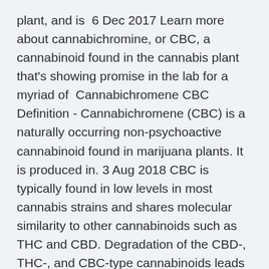plant, and is  6 Dec 2017 Learn more about cannabichromine, or CBC, a cannabinoid found in the cannabis plant that's showing promise in the lab for a myriad of  Cannabichromene CBC Definition - Cannabichromene (CBC) is a naturally occurring non-psychoactive cannabinoid found in marijuana plants. It is produced in. 3 Aug 2018 CBC is typically found in low levels in most cannabis strains and shares molecular similarity to other cannabinoids such as THC and CBD. Degradation of the CBD-, THC-, and CBC-type cannabinoids leads to CBE-, CBN- Later, a definition of THC-like activity was given as the ensemble of “central”  31 Jul 2019 Cannabis was defined as a Schedule I substance by the Federal Hemp has a higher concentration of CBC but may contain THC (less than 3  Tetrahydrocannabinol (THC) and cannabidiol (CBD)